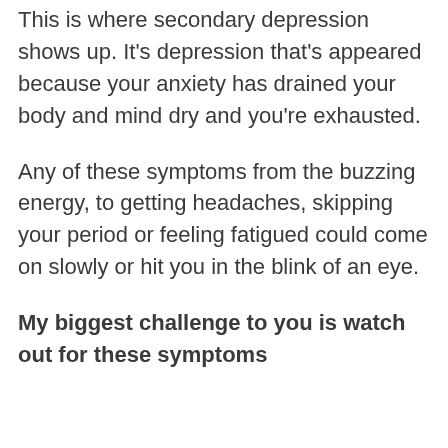This is where secondary depression shows up. It's depression that's appeared because your anxiety has drained your body and mind dry and you're exhausted.
Any of these symptoms from the buzzing energy, to getting headaches, skipping your period or feeling fatigued could come on slowly or hit you in the blink of an eye.
My biggest challenge to you is watch out for these symptoms